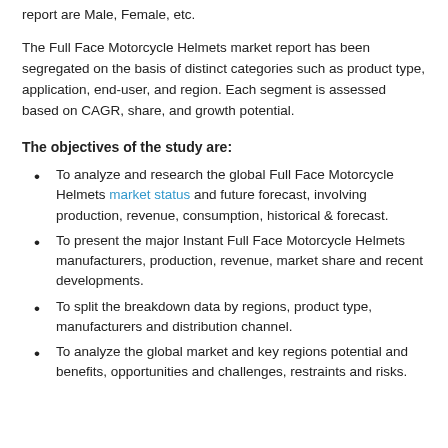report are Male, Female, etc.
The Full Face Motorcycle Helmets market report has been segregated on the basis of distinct categories such as product type, application, end-user, and region. Each segment is assessed based on CAGR, share, and growth potential.
The objectives of the study are:
To analyze and research the global Full Face Motorcycle Helmets market status and future forecast, involving production, revenue, consumption, historical & forecast.
To present the major Instant Full Face Motorcycle Helmets manufacturers, production, revenue, market share and recent developments.
To split the breakdown data by regions, product type, manufacturers and distribution channel.
To analyze the global market and key regions potential and benefits, opportunities and challenges, restraints and risks.